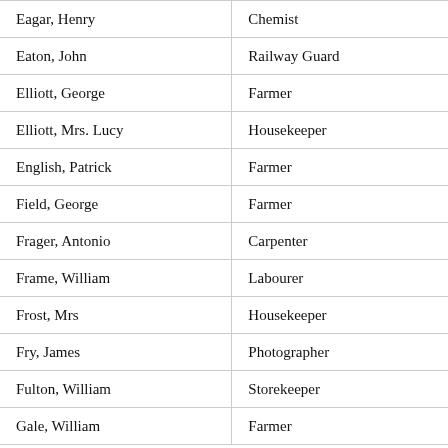| Name | Occupation |
| --- | --- |
| Eagar, Henry | Chemist |
| Eaton, John | Railway Guard |
| Elliott, George | Farmer |
| Elliott, Mrs. Lucy | Housekeeper |
| English, Patrick | Farmer |
| Field, George | Farmer |
| Frager, Antonio | Carpenter |
| Frame, William | Labourer |
| Frost, Mrs | Housekeeper |
| Fry, James | Photographer |
| Fulton, William | Storekeeper |
| Gale, William | Farmer |